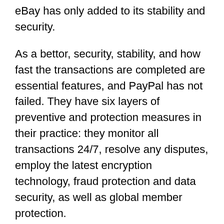eBay has only added to its stability and security.
As a bettor, security, stability, and how fast the transactions are completed are essential features, and PayPal has not failed. They have six layers of preventive and protection measures in their practice: they monitor all transactions 24/7, resolve any disputes, employ the latest encryption technology, fraud protection and data security, as well as global member protection.
With PayPal, bettors will have access to many of the deposit bonuses online betting sites offer to new users. Online betting sites in Canada bolster the use of PayPal, as with it, they know their players are protected and can move the funds quickly. The usual form of deposit bonus used is the deposit match bonus. With the first deposit you make via PayPal, the betting site will match it in bonus funds up to a